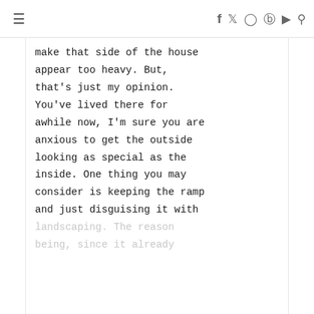≡  f  🐦  📷  𝕡  ▶  🔍
make that side of the house appear too heavy. But, that's just my opinion. You've lived there for awhile now, I'm sure you are anxious to get the outside looking as special as the inside. One thing you may consider is keeping the ramp and just disguising it with landscaping. The reason being, since it already